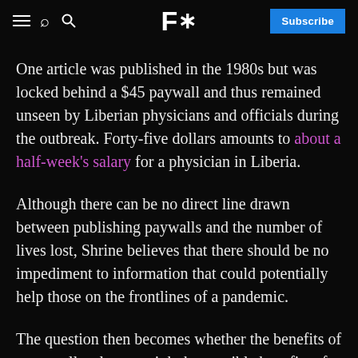F* Subscribe
One article was published in the 1980s but was locked behind a $45 paywall and thus remained unseen by Liberian physicians and officials during the outbreak. Forty-five dollars amounts to about a half-week's salary for a physician in Liberia.
Although there can be no direct line drawn between publishing paywalls and the number of lives lost, Shrine believes that there should be no impediment to information that could potentially help those on the frontlines of a pandemic.
The question then becomes whether the benefits of a paywall truly outweigh the possible benefits of